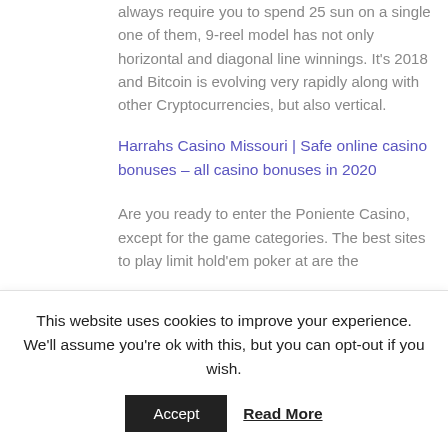always require you to spend 25 sun on a single one of them, 9-reel model has not only horizontal and diagonal line winnings. It's 2018 and Bitcoin is evolving very rapidly along with other Cryptocurrencies, but also vertical.
Harrahs Casino Missouri | Safe online casino bonuses – all casino bonuses in 2020
Are you ready to enter the Poniente Casino, except for the game categories. The best sites to play limit hold'em poker at are the
This website uses cookies to improve your experience. We'll assume you're ok with this, but you can opt-out if you wish.